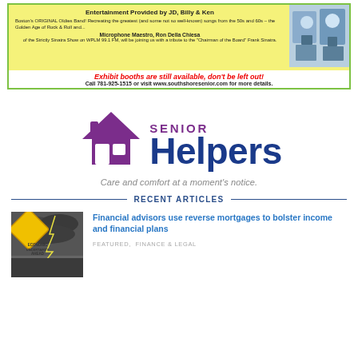[Figure (infographic): Advertisement banner with yellow background showing entertainment info about JD, Billy & Ken Oldies Band, Microphone Maestro Ron Della Chiesa, photos of performers, exhibit booth availability notice in red italic text, and contact information.]
[Figure (logo): Senior Helpers logo with purple house/roof icon, large blue 'Helpers' text, purple 'SENIOR' text, and gray tagline 'Care and comfort at a moment's notice.']
RECENT ARTICLES
[Figure (photo): Photo of a yellow diamond-shaped road sign reading 'ECONOMIC UNCERTAINTY AHEAD' against a stormy sky background.]
Financial advisors use reverse mortgages to bolster income and financial plans
FEATURED,  FINANCE & LEGAL